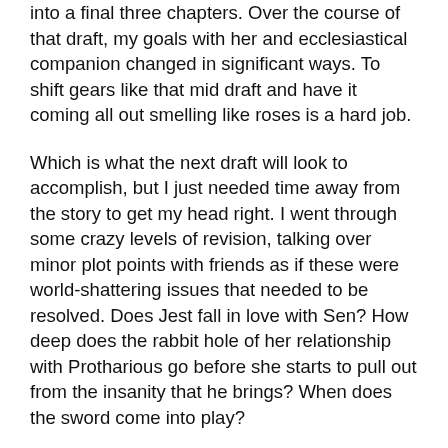into a final three chapters.  Over the course of that draft, my goals with her and ecclesiastical companion changed in significant ways.  To shift gears like that mid draft and have it coming all out smelling like roses is a hard job.
Which is what the next draft will look to accomplish, but I just needed time away from the story to get my head right.  I went through some crazy levels of revision, talking over minor plot points with friends as if these were world-shattering issues that needed to be resolved.  Does Jest fall in love with Sen?  How deep does the rabbit hole of her relationship with Protharious go before she starts to pull out from the insanity that he brings?  When does the sword come into play?
And all the time, those friends were saying, “Dude.  Stop.  Relax.  Write something else.”
So, I took time to get this site up and running.  I rewrote a